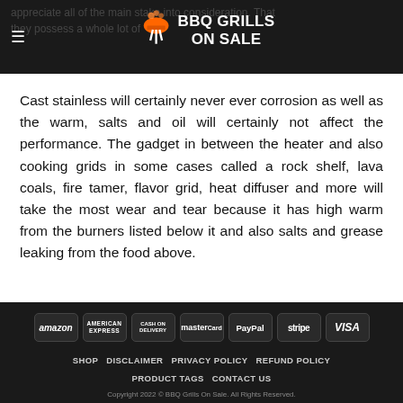BBQ GRILLS ON SALE
Cast stainless will certainly never ever corrosion as well as the warm, salts and oil will certainly not affect the performance. The gadget in between the heater and also cooking grids in some cases called a rock shelf, lava coals, fire tamer, flavor grid, heat diffuser and more will take the most wear and tear because it has high warm from the burners listed below it and also salts and grease leaking from the food above.
SHOP   DISCLAIMER   PRIVACY POLICY   REFUND POLICY   PRODUCT TAGS   CONTACT US